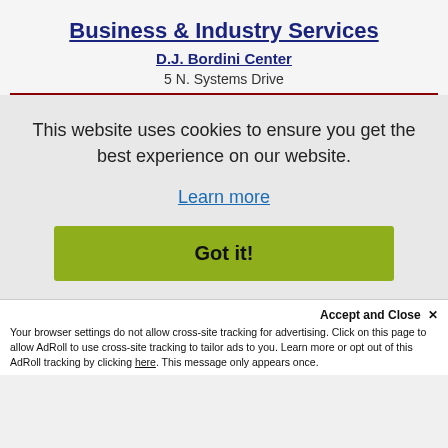Business & Industry Services
D.J. Bordini Center
5 N. Systems Drive
This website uses cookies to ensure you get the best experience on our website.
Learn more
Got it!
Accept and Close ✕
Your browser settings do not allow cross-site tracking for advertising. Click on this page to allow AdRoll to use cross-site tracking to tailor ads to you. Learn more or opt out of this AdRoll tracking by clicking here. This message only appears once.